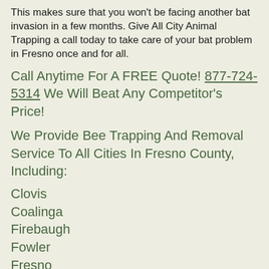This makes sure that you won't be facing another bat invasion in a few months. Give All City Animal Trapping a call today to take care of your bat problem in Fresno once and for all.
Call Anytime For A FREE Quote! 877-724-5314 We Will Beat Any Competitor's Price!
We Provide Bee Trapping And Removal Service To All Cities In Fresno County, Including:
Clovis
Coalinga
Firebaugh
Fowler
Fresno
Huron